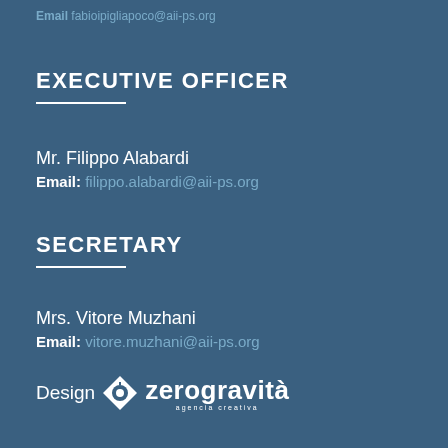Email: fabioipigliapoco@aii-ps.org
EXECUTIVE OFFICER
Mr. Filippo Alabardi
Email: filippo.alabardi@aii-ps.org
SECRETARY
Mrs. Vitore Muzhani
Email: vitore.muzhani@aii-ps.org
[Figure (logo): zerogravità agency logo with text 'Design zerogravità agencia creativa']